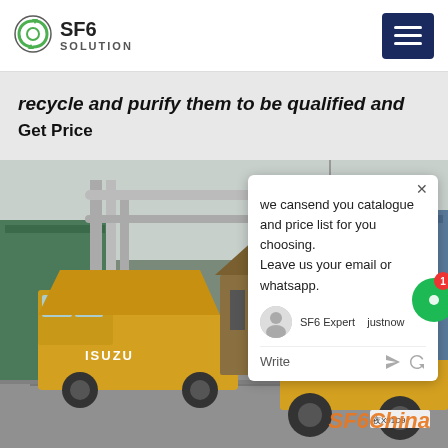[Figure (logo): SF6 Solution logo with circular green recycling icon, bold text SF6 and SOLUTION]
recycle and purify them to be qualified and
Get Price
[Figure (photo): Two yellow Isuzu trucks with specialized SF6 gas handling equipment parked at an industrial facility with large pipes and a green corrugated metal building in the background]
we cansend you catalogue and price list for you choosing. Leave us your email or whatsapp.
SF6 Expert   justnow
Write
SF6China